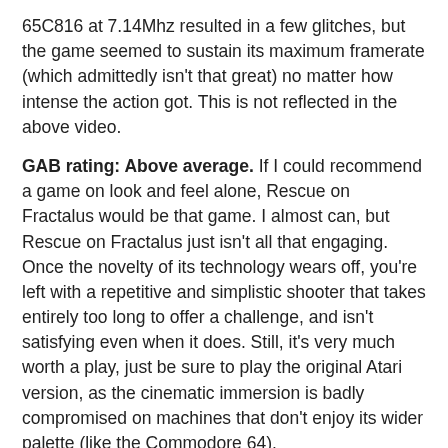65C816 at 7.14Mhz resulted in a few glitches, but the game seemed to sustain its maximum framerate (which admittedly isn't that great) no matter how intense the action got. This is not reflected in the above video.
GAB rating: Above average. If I could recommend a game on look and feel alone, Rescue on Fractalus would be that game. I almost can, but Rescue on Fractalus just isn't all that engaging. Once the novelty of its technology wears off, you're left with a repetitive and simplistic shooter that takes entirely too long to offer a challenge, and isn't satisfying even when it does. Still, it's very much worth a play, just be sure to play the original Atari version, as the cinematic immersion is badly compromised on machines that don't enjoy its wider palette (like the Commodore 64).
7 comments:
Share
Tuesday, November 9, 2021